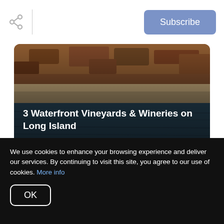Subscribe
[Figure (photo): Aerial view of Long Island coastline showing beach and water with reddish-brown vegetation]
3 Waterfront Vineyards & Wineries on Long Island
Waterfront Vineyards on Long Island, NY
READ MORE
We use cookies to enhance your browsing experience and deliver our services. By continuing to visit this site, you agree to our use of cookies. More info
OK